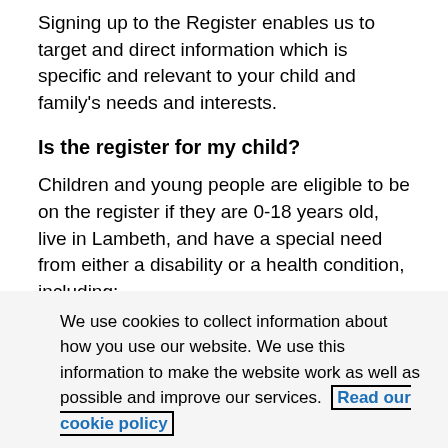Signing up to the Register enables us to target and direct information which is specific and relevant to your child and family's needs and interests.
Is the register for my child?
Children and young people are eligible to be on the register if they are 0-18 years old, live in Lambeth, and have a special need from either a disability or a health condition, including:
visual or hearing impairments
learning disabilities
We use cookies to collect information about how you use our website. We use this information to make the website work as well as possible and improve our services. Read our cookie policy